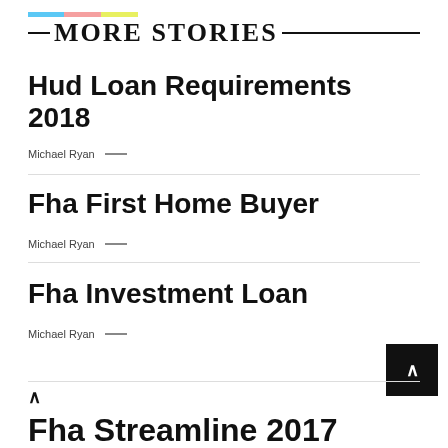MORE STORIES
Hud Loan Requirements 2018
Michael Ryan —
Fha First Home Buyer
Michael Ryan —
Fha Investment Loan
Michael Ryan —
Fha Streamline 2017 (partial)